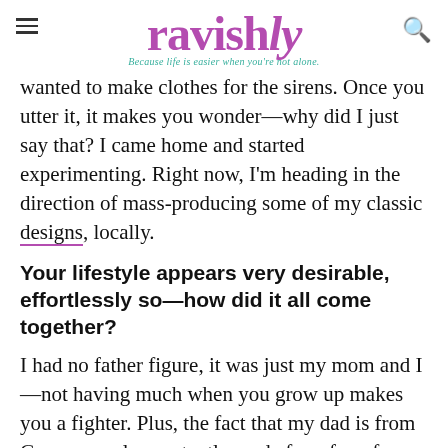ravishly — Because life is easier when you're not alone.
wanted to make clothes for the sirens. Once you utter it, it makes you wonder—why did I just say that? I came home and started experimenting. Right now, I'm heading in the direction of mass-producing some of my classic designs, locally.
Your lifestyle appears very desirable, effortlessly so—how did it all come together?
I had no father figure, it was just my mom and I—not having much when you grow up makes you a fighter. Plus, the fact that my dad is from Guam, people constantly made fun of me for looking Chinese—in Massachusetts! I always